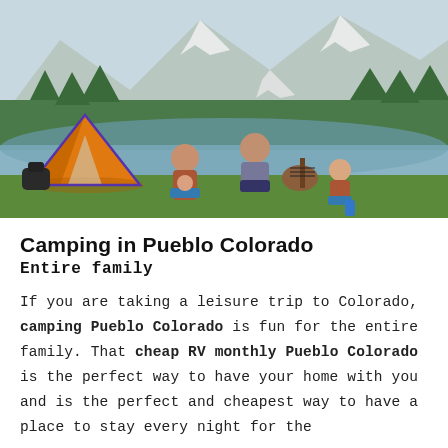[Figure (photo): A family camping by a mountain lake. An orange dome tent is on the left, a woman sits with a baby/toddler on her lap, a man plays acoustic guitar, and a young child sits nearby clapping. Snow-capped mountains and a green forest are reflected in the calm lake behind them.]
Camping in Pueblo Colorado
Entire family
If you are taking a leisure trip to Colorado, camping Pueblo Colorado is fun for the entire family. That cheap RV monthly Pueblo Colorado is the perfect way to have your home with you and is the perfect and cheapest way to have a place to stay every night for the